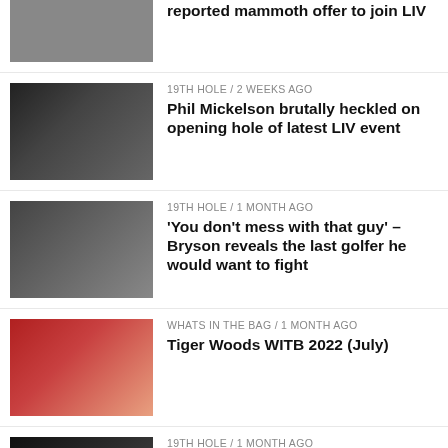reported mammoth offer to join LIV
19TH HOLE / 2 weeks ago — Phil Mickelson brutally heckled on opening hole of latest LIV event
19TH HOLE / 1 month ago — 'You don't mess with that guy' – Bryson reveals the last golfer he would want to fight
WHATS IN THE BAG / 1 month ago — Tiger Woods WITB 2022 (July)
19TH HOLE / 1 month ago — 'I'm again broke' – Bryson reveals how he's been spending his $125+ million LIV money
19TH HOLE / 4 weeks ago